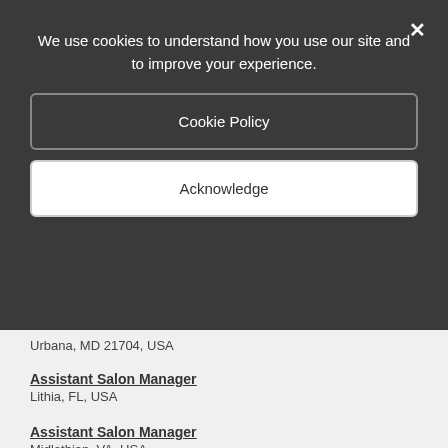We use cookies to understand how you use our site and to improve your experience.
Cookie Policy
Acknowledge
Urbana, MD 21704, USA
Assistant Salon Manager
Lithia, FL, USA
Assistant Salon Manager
Midlothian, VA, USA
Assistant Salon Manager
Richmond, VA, USA
Assistant Salon Manager
Gainesville, VA, USA
Search